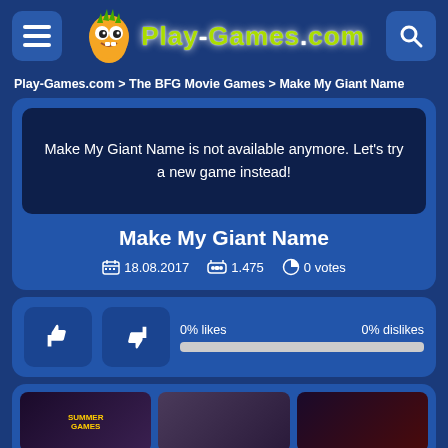Play-Games.com
Play-Games.com > The BFG Movie Games > Make My Giant Name
Make My Giant Name is not available anymore. Let's try a new game instead!
Make My Giant Name
18.08.2017   1.475   0 votes
0% likes   0% dislikes
[Figure (screenshot): Three game thumbnail images at the bottom of the page]